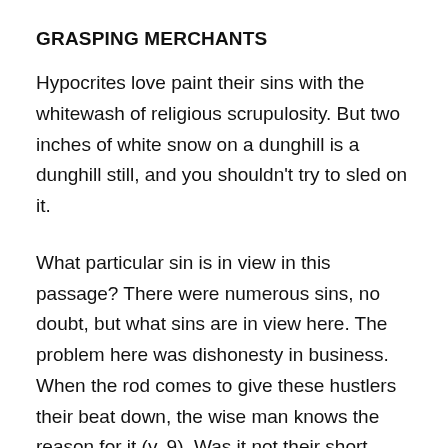GRASPING MERCHANTS
Hypocrites love paint their sins with the whitewash of religious scrupulosity. But two inches of white snow on a dunghill is a dunghill still, and you shouldn't try to sled on it.
What particular sin is in view in this passage? There were numerous sins, no doubt, but what sins are in view here. The problem here was dishonesty in business. When the rod comes to give these hustlers their beat down, the wise man knows the reason for it (v. 9). Was it not their short measure (v. 10)? Wicked scales and deceitful weights (v. 11)? When they open their mouths, lies come fluttering